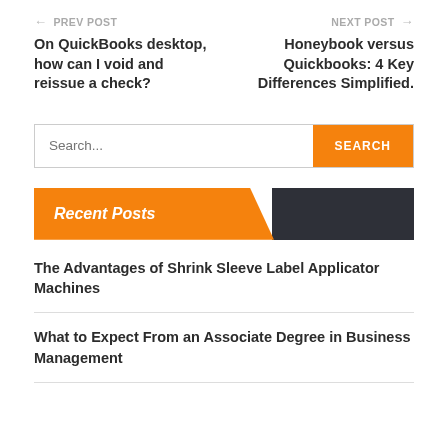← PREV POST | NEXT POST →
On QuickBooks desktop, how can I void and reissue a check?
Honeybook versus Quickbooks: 4 Key Differences Simplified.
Search...
Recent Posts
The Advantages of Shrink Sleeve Label Applicator Machines
What to Expect From an Associate Degree in Business Management